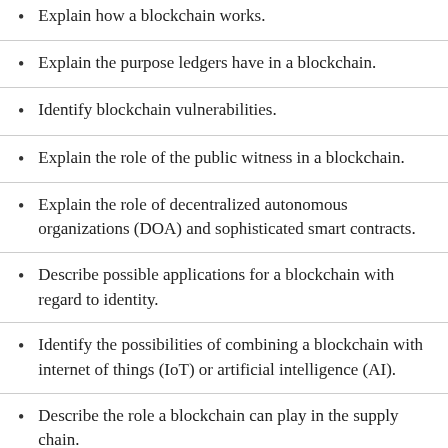Explain how a blockchain works.
Explain the purpose ledgers have in a blockchain.
Identify blockchain vulnerabilities.
Explain the role of the public witness in a blockchain.
Explain the role of decentralized autonomous organizations (DOA) and sophisticated smart contracts.
Describe possible applications for a blockchain with regard to identity.
Identify the possibilities of combining a blockchain with internet of things (IoT) or artificial intelligence (AI).
Describe the role a blockchain can play in the supply chain.